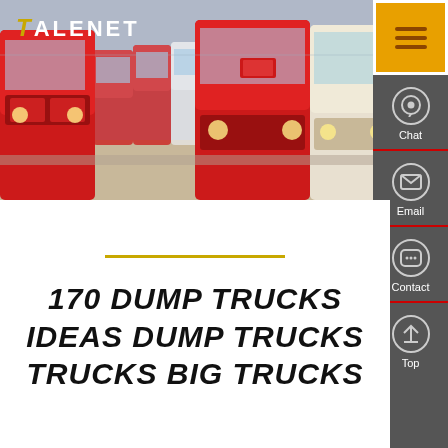[Figure (photo): Row of red and white heavy-duty trucks (dump trucks / tractor units) parked in a lot, viewed from the front-side angle. Multiple trucks lined up receding into the distance.]
TALENET
170 DUMP TRUCKS IDEAS DUMP TRUCKS TRUCKS BIG TRUCKS